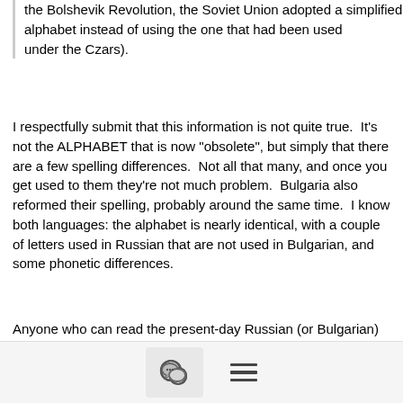the Bolshevik Revolution, the Soviet Union adopted a simplified alphabet instead of using the one that had been used under the Czars).
I respectfully submit that this information is not quite true.  It's not the ALPHABET that is now "obsolete", but simply that there are a few spelling differences.  Not all that many, and once you get used to them they're not much problem.  Bulgaria also reformed their spelling, probably around the same time.  I know both languages: the alphabet is nearly identical, with a couple of letters used in Russian that are not used in Bulgarian, and some phonetic differences.
Anyone who can read the present-day Russian (or Bulgarian) should be
[Figure (other): Bottom toolbar with a chat/comment button icon and a hamburger menu icon]